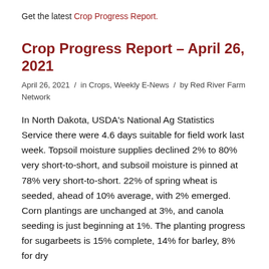Get the latest Crop Progress Report.
Crop Progress Report – April 26, 2021
April 26, 2021 / in Crops, Weekly E-News / by Red River Farm Network
In North Dakota, USDA's National Ag Statistics Service there were 4.6 days suitable for field work last week. Topsoil moisture supplies declined 2% to 80% very short-to-short, and subsoil moisture is pinned at 78% very short-to-short. 22% of spring wheat is seeded, ahead of 10% average, with 2% emerged. Corn plantings are unchanged at 3%, and canola seeding is just beginning at 1%. The planting progress for sugarbeets is 15% complete, 14% for barley, 8% for dry